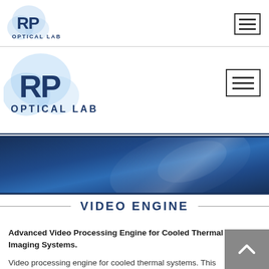[Figure (logo): RP Optical Lab logo - small version in top navigation bar]
[Figure (logo): RP Optical Lab logo - large version in second navigation bar]
[Figure (illustration): Blue gradient banner / hero image with light reflection effect]
VIDEO ENGINE
Advanced Video Processing Engine for Cooled Thermal Imaging Systems.
Video processing engine for cooled thermal systems. This